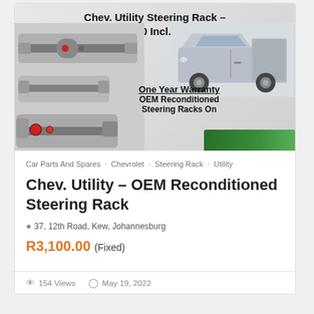[Figure (photo): Product listing image showing steering rack parts on the left, a Chevrolet Utility pickup truck on the right, with title 'Chev. Utility Steering Rack - R3100 Incl. VAT' at top and 'One Year Warranty OEM Reconditioned Steering Racks On' text overlay]
Car Parts And Spares   Chevrolet   Steering Rack   Utility
Chev. Utility – OEM Reconditioned Steering Rack
37, 12th Road, Kew, Johannesburg
R3,100.00 (Fixed)
154 Views   May 19, 2022